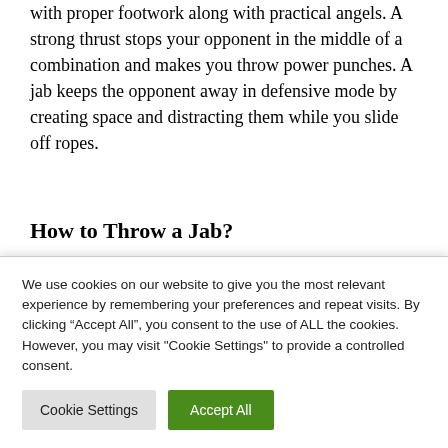with proper footwork along with practical angels. A strong thrust stops your opponent in the middle of a combination and makes you throw power punches. A jab keeps the opponent away in defensive mode by creating space and distracting them while you slide off ropes.
How to Throw a Jab?
There are various ways to throw a jab, and we will
We use cookies on our website to give you the most relevant experience by remembering your preferences and repeat visits. By clicking “Accept All”, you consent to the use of ALL the cookies. However, you may visit "Cookie Settings" to provide a controlled consent.